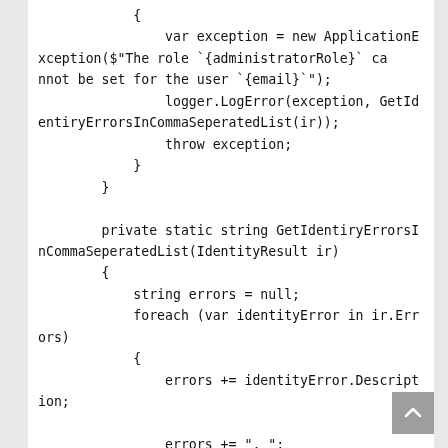{
            var exception = new ApplicationException($"The role `{administratorRole}` cannot be set for the user `{email}`");
            logger.LogError(exception, GetIdentiryErrorsInCommaSeperatedList(ir));
            throw exception;
        }
    }

    private static string GetIdentiryErrorsInCommaSeperatedList(IdentityResult ir)
    {
        string errors = null;
        foreach (var identityError in ir.Errors)
        {
            errors += identityError.Description;
            errors += ", ";
        }
        return errors;
    }
}